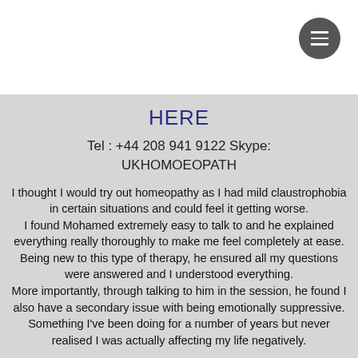[Figure (other): Hamburger menu button (three horizontal lines) in a dark circular icon in the top-right corner of the white header bar]
HERE
Tel : +44 208 941 9122 Skype: UKHOMOEOPATH
I thought I would try out homeopathy as I had mild claustrophobia in certain situations and could feel it getting worse. I found Mohamed extremely easy to talk to and he explained everything really thoroughly to make me feel completely at ease. Being new to this type of therapy, he ensured all my questions were answered and I understood everything. More importantly, through talking to him in the session, he found I also have a secondary issue with being emotionally suppressive. Something I've been doing for a number of years but never realised I was actually affecting my life negatively.